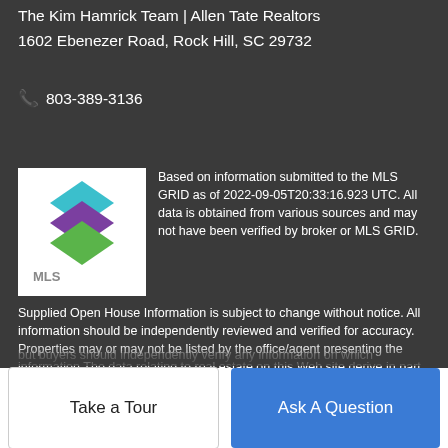The Kim Hamrick Team | Allen Tate Realtors
1602 Ebenezer Road, Rock Hill, SC 29732
📞 803-389-3136
[Figure (logo): MLS GRID logo with stacked diamond shapes in teal, purple, and green above text 'MLS GRiD']
Based on information submitted to the MLS GRID as of 2022-09-05T20:33:16.923 UTC. All data is obtained from various sources and may not have been verified by broker or MLS GRID. Supplied Open House Information is subject to change without notice. All information should be independently reviewed and verified for accuracy. Properties may or may not be listed by the office/agent presenting the information.The data relating to real estate on this Web site derive in part from the Canopy MLS IDX program. Brokers make an effort to deliver accurate information, but buyers should independently verify any information on which
Take a Tour
Ask A Question